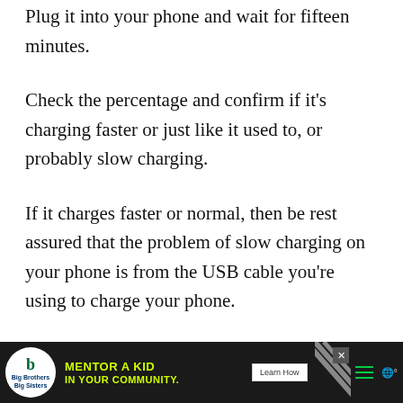Plug it into your phone and wait for fifteen minutes.
Check the percentage and confirm if it's charging faster or just like it used to, or probably slow charging.
If it charges faster or normal, then be rest assured that the problem of slow charging on your phone is from the USB cable you're using to charge your phone.
The only solution to this issue of why is my phone taking so long to charge caused by a faulty USB ca…